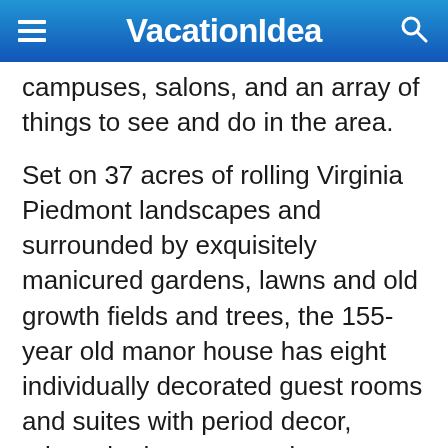VacationIdea
campuses, salons, and an array of things to see and do in the area.
Set on 37 acres of rolling Virginia Piedmont landscapes and surrounded by exquisitely manicured gardens, lawns and old growth fields and trees, the 155-year old manor house has eight individually decorated guest rooms and suites with period decor, private bathrooms, modern amenities, and inspiring views. Three-coursegourmet breakfasts are served every morning on the sunny terrace or next to the fireplace, and snacks, soft